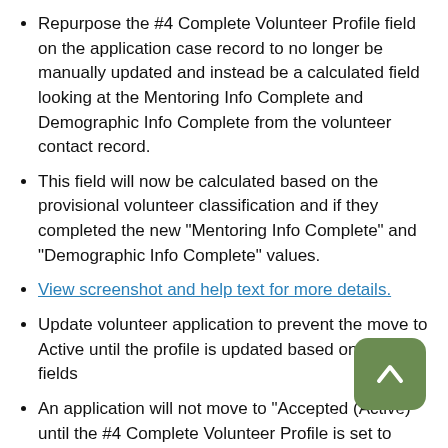Repurpose the #4 Complete Volunteer Profile field on the application case record to no longer be manually updated and instead be a calculated field looking at the Mentoring Info Complete and Demographic Info Complete from the volunteer contact record.
This field will now be calculated based on the provisional volunteer classification and if they completed the new "Mentoring Info Complete" and "Demographic Info Complete" values.
View screenshot and help text for more details.
Update volunteer application to prevent the move to Active until the profile is updated based on rollup fields
An application will not move to "Accepted (Active)" until the #4 Complete Volunteer Profile is set to completed
Add additional options to the Gender field
The following options were added to the